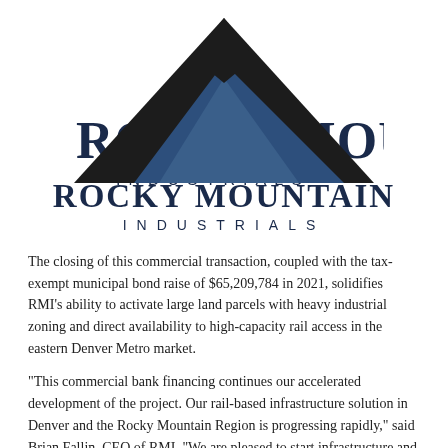[Figure (logo): Rocky Mountain Industrials logo: stylized mountain peaks in dark navy/black with a smaller steel-blue mountain in front, above the text 'ROCKY MOUNTAIN' in bold serif and 'INDUSTRIALS' in spaced sans-serif, both in dark navy.]
The closing of this commercial transaction, coupled with the tax-exempt municipal bond raise of $65,209,784 in 2021, solidifies RMI's ability to activate large land parcels with heavy industrial zoning and direct availability to high-capacity rail access in the eastern Denver Metro market.
"This commercial bank financing continues our accelerated development of the project. Our rail-based infrastructure solution in Denver and the Rocky Mountain Region is progressing rapidly," said Brian Fallin, CEO of RMI. "We are pleased to start infrastructure and